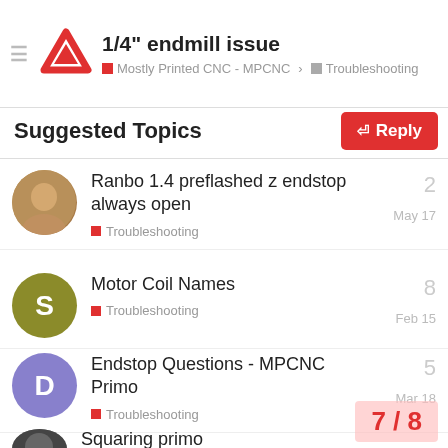1/4" endmill issue — Mostly Printed CNC - MPCNC > Troubleshooting
Suggested Topics
Ranbo 1.4 preflashed z endstop always open — Troubleshooting — May 17 — 2 replies
Motor Coil Names — Troubleshooting — Feb 15 — 8 replies
Endstop Questions - MPCNC Primo — Troubleshooting — Mar 18 — 5 replies
Z axis not homing — Troubleshooting — Dec '21 — 7 replies
Squaring primo
7 / 8